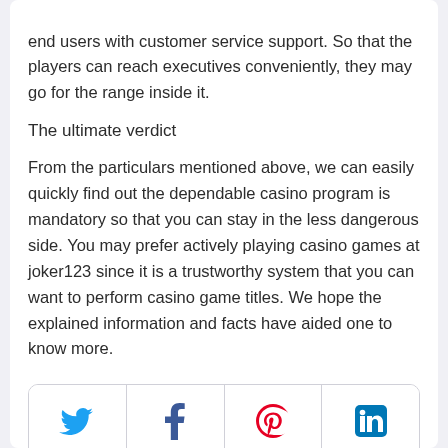end users with customer service support. So that the players can reach executives conveniently, they may go for the range inside it.
The ultimate verdict
From the particulars mentioned above, we can easily quickly find out the dependable casino program is mandatory so that you can stay in the less dangerous side. You may prefer actively playing casino games at joker123 since it is a trustworthy system that you can want to perform casino game titles. We hope the explained information and facts have aided one to know more.
[Figure (other): Social sharing bar with Twitter, Facebook, Pinterest, and LinkedIn icons]